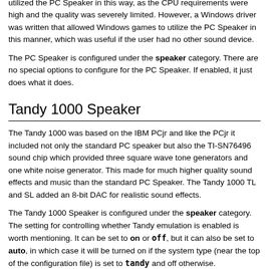through the PC Speaker, even reproducing voice. Very few games utilized the PC Speaker in this way, as the CPU requirements were high and the quality was severely limited. However, a Windows driver was written that allowed Windows games to utilize the PC Speaker in this manner, which was useful if the user had no other sound device.
The PC Speaker is configured under the speaker category. There are no special options to configure for the PC Speaker. If enabled, it just does what it does.
Tandy 1000 Speaker
The Tandy 1000 was based on the IBM PCjr and like the PCjr it included not only the standard PC speaker but also the TI-SN76496 sound chip which provided three square wave tone generators and one white noise generator. This made for much higher quality sound effects and music than the standard PC Speaker. The Tandy 1000 TL and SL added an 8-bit DAC for realistic sound effects.
The Tandy 1000 Speaker is configured under the speaker category. The setting for controlling whether Tandy emulation is enabled is worth mentioning. It can be set to on or off, but it can also be set to auto, in which case it will be turned on if the system type (near the top of the configuration file) is set to tandy and off otherwise.
Some people have reported needing to turn on Sound Blaster emulation in